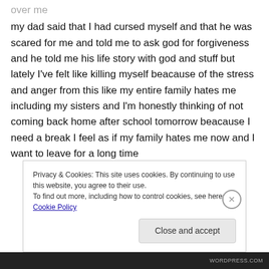my dad said that I had cursed myself and that he was scared for me and told me to ask god for forgiveness and he told me his life story with god and stuff but lately I've felt like killing myself beacause of the stress and anger from this like my entire family hates me including my sisters and I'm honestly thinking of not coming back home after school tomorrow beacause I need a break I feel as if my family hates me now and I want to leave for a long time
Privacy & Cookies: This site uses cookies. By continuing to use this website, you agree to their use.
To find out more, including how to control cookies, see here: Cookie Policy